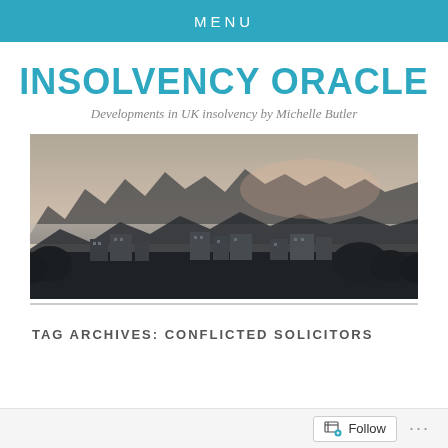MENU
INSOLVENCY ORACLE
Developments in UK insolvency by Michelle Butler
[Figure (photo): Panoramic landscape photo showing misty karst mountains in the background with buildings and vegetation in the foreground at dusk/dawn.]
TAG ARCHIVES: CONFLICTED SOLICITORS